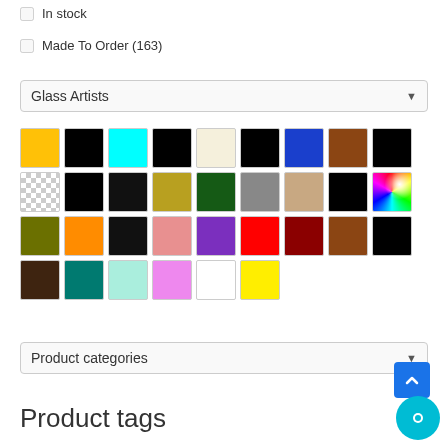In stock
Made To Order (163)
Glass Artists
[Figure (other): Color swatches grid with 33 colors including yellow, black, cyan, black, cream, black, blue, brown, black (row1); checkered/transparent, black, black, gold, dark green, gray, tan/beige, black, rainbow (row2); olive, orange, black, pink, purple, red, dark red, brown, black (row3); dark brown, teal, light cyan, pink, white, yellow (row4)]
Product categories
Product tags